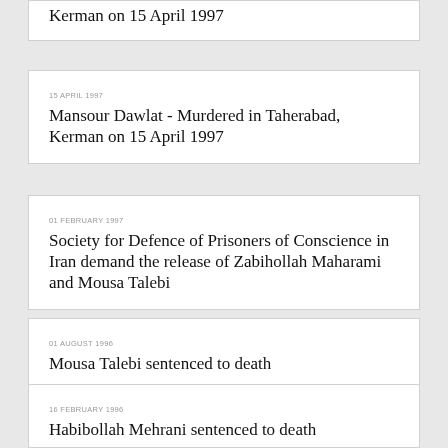Kerman on 15 April 1997
15 APRIL 1997
Mansour Dawlat - Murdered in Taherabad, Kerman on 15 April 1997
01 FEBRUARY 1997
Society for Defence of Prisoners of Conscience in Iran demand the release of Zabihollah Maharami and Mousa Talebi
01 AUGUST 1996
Mousa Talebi sentenced to death
16 FEBRUARY 1996
Habibollah Mehrani sentenced to death